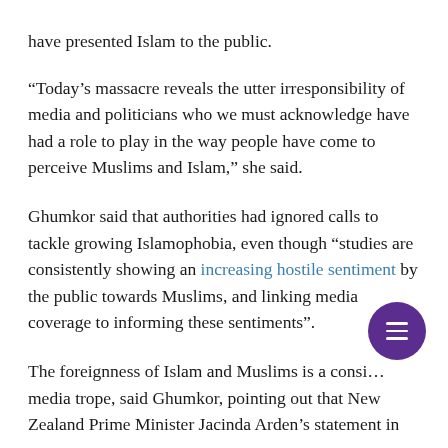have presented Islam to the public.
“Today’s massacre reveals the utter irresponsibility of media and politicians who we must acknowledge have had a role to play in the way people have come to perceive Muslims and Islam,” she said.
Ghumkor said that authorities had ignored calls to tackle growing Islamophobia, even though “studies are consistently showing an increasing hostile sentiment by the public towards Muslims, and linking media coverage to informing these sentiments”.
The foreignness of Islam and Muslims is a consi… media trope, said Ghumkor, pointing out that New Zealand Prime Minister Jacinda Arden’s statement in